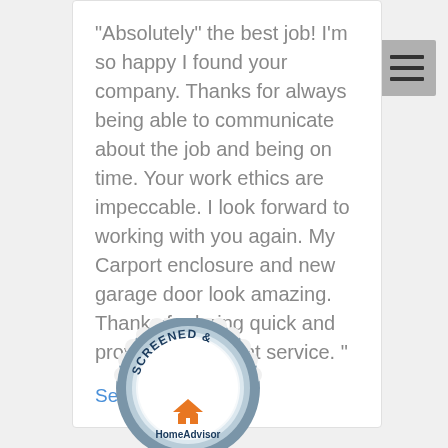"Absolutely" the best job! I'm so happy I found your company. Thanks for always being able to communicate about the job and being on time. Your work ethics are impeccable. I look forward to working with you again. My Carport enclosure and new garage door look amazing. Thanks for being quick and providing excellent service. "
See all reviews
[Figure (logo): HomeAdvisor Screened & Approved badge - circular seal with scalloped edge, showing text 'SCREENED &' at top and HomeAdvisor logo at bottom]